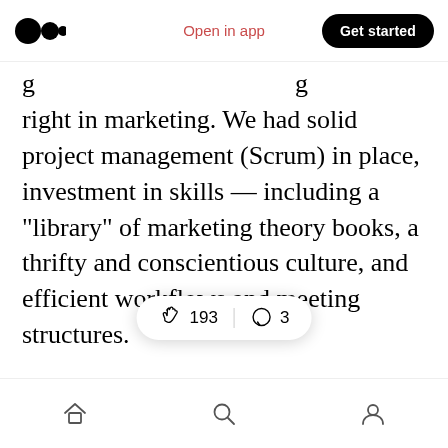Open in app | Get started
right in marketing. We had solid project management (Scrum) in place, investment in skills — including a “library” of marketing theory books, a thrifty and conscientious culture, and efficient workflows and meeting structures.
It’s logistics like these — the supply lines of creativity and effectiveness — that helped us punch above our weight.
It goes without saying that I cannot — and will not — take the c… All this work
[Figure (infographic): Floating reaction bar showing clap icon with count 193, divider, comment icon with count 3]
Home | Search | Profile